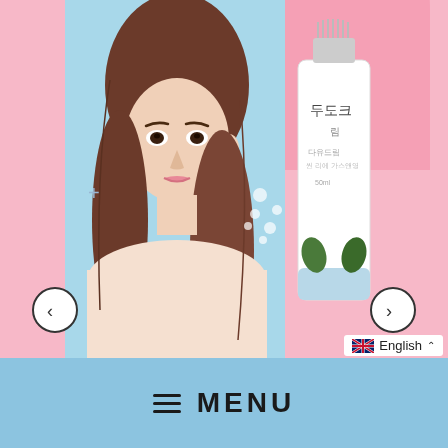[Figure (photo): Korean beauty/cosmetics website screenshot showing a young Asian woman model with long brown hair and a skincare product tube (cream with Korean text), against a pink background. Navigation arrows on left and right sides. Blue menu bar at bottom with hamburger menu and MENU text. English language selector at bottom right.]
≡  MENU
English